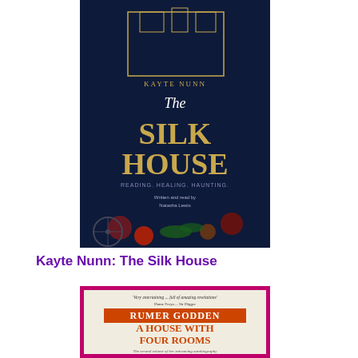[Figure (photo): Book cover of 'The Silk House' by Kayte Nunn - dark navy background with illustrated building and floral elements, gold title text]
Kayte Nunn: The Silk House
[Figure (photo): Book cover of 'A House with Four Rooms' by Rumer Godden - cream/white top with orange title text, black and white photo of woman on lower half, crimson/magenta border]
Rumer Godden: A House with Four Rooms
[Figure (photo): Book cover of 'In Other Words' by Jhumpa Lahiri - dark background, partially visible at bottom of page]